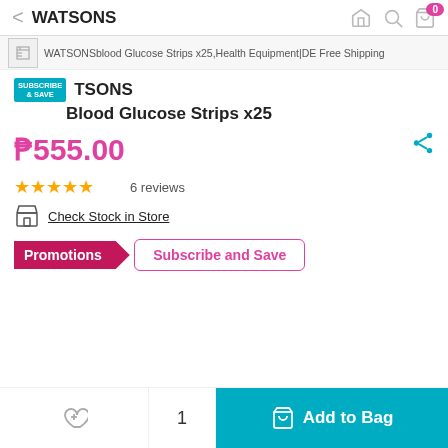< WATSONS
WATSONSblood Glucose Strips x25,Health Equipment|DE Free Shipping
WATSONS Blood Glucose Strips x25
₱555.00
6 reviews
Check Stock in Store
Promotions
Subscribe and Save
1
Add to Bag